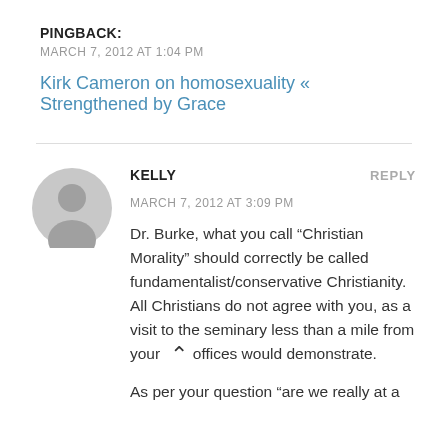PINGBACK:
MARCH 7, 2012 AT 1:04 PM
Kirk Cameron on homosexuality « Strengthened by Grace
KELLY
MARCH 7, 2012 AT 3:09 PM
Dr. Burke, what you call “Christian Morality” should correctly be called fundamentalist/conservative Christianity. All Christians do not agree with you, as a visit to the seminary less than a mile from your offices would demonstrate.
As per your question “are we really at a